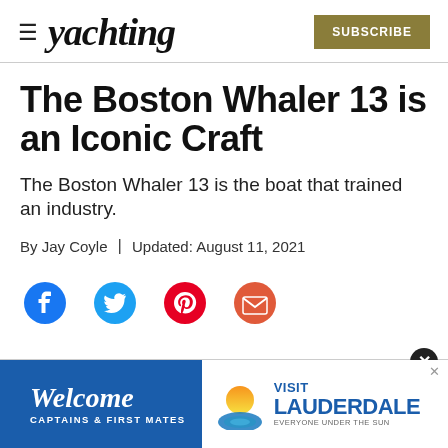Yachting | SUBSCRIBE
The Boston Whaler 13 is an Iconic Craft
The Boston Whaler 13 is the boat that trained an industry.
By Jay Coyle | Updated: August 11, 2021
[Figure (infographic): Social media share icons: Facebook, Twitter, Pinterest, Email]
[Figure (infographic): Advertisement banner: Welcome Captains & First Mates | Visit Lauderdale Everyone Under the Sun]